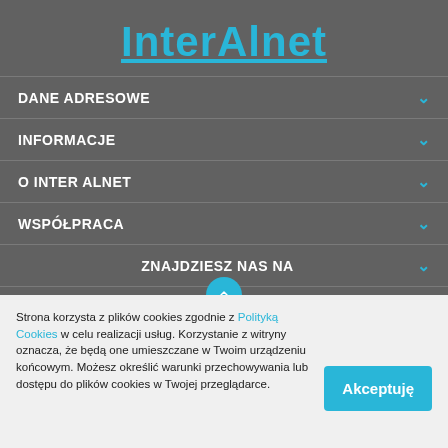InterAlnet
DANE ADRESOWE
INFORMACJE
O INTER ALNET
WSPÓŁPRACA
ZNAJDZIESZ NAS NA
Strona korzysta z plików cookies zgodnie z Polityką Cookies w celu realizacji usług. Korzystanie z witryny oznacza, że będą one umieszczane w Twoim urządzeniu końcowym. Możesz określić warunki przechowywania lub dostępu do plików cookies w Twojej przeglądarce.